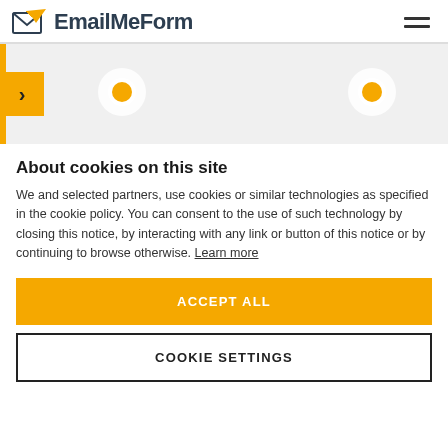EmailMeForm
[Figure (screenshot): Website banner/slider area with yellow left border, yellow forward arrow button, and two circular radio-button style dots]
About cookies on this site
We and selected partners, use cookies or similar technologies as specified in the cookie policy. You can consent to the use of such technology by closing this notice, by interacting with any link or button of this notice or by continuing to browse otherwise. Learn more
ACCEPT ALL
COOKIE SETTINGS